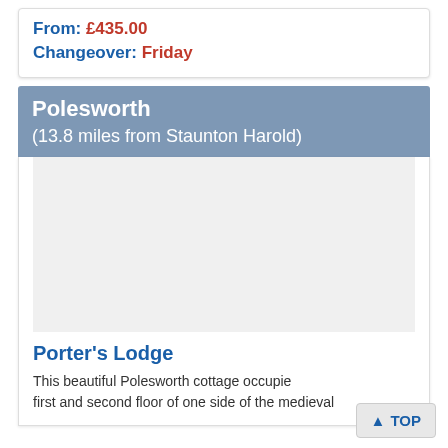From: £435.00
Changeover: Friday
Polesworth (13.8 miles from Staunton Harold)
[Figure (photo): Property image placeholder (blank/white area)]
Porter's Lodge
This beautiful Polesworth cottage occupie first and second floor of one side of the medieval